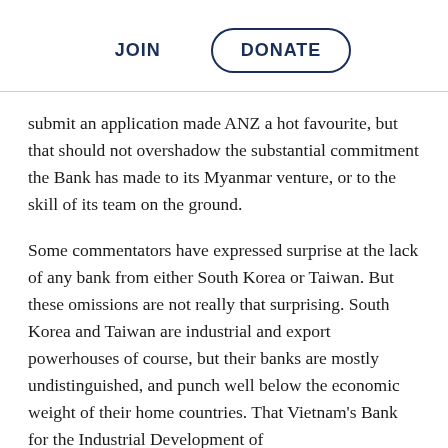JOIN  DONATE
submit an application made ANZ a hot favourite, but that should not overshadow the substantial commitment the Bank has made to its Myanmar venture, or to the skill of its team on the ground.
Some commentators have expressed surprise at the lack of any bank from either South Korea or Taiwan. But these omissions are not really that surprising. South Korea and Taiwan are industrial and export powerhouses of course, but their banks are mostly undistinguished, and punch well below the economic weight of their home countries. That Vietnam's Bank for the Industrial Development of